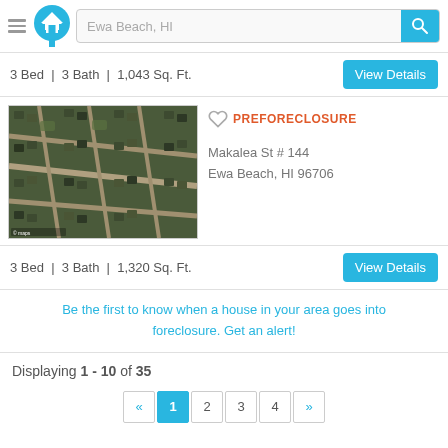[Figure (screenshot): Real estate website header with hamburger menu, house logo icon, search bar showing 'Ewa Beach, HI', and cyan search button with magnifying glass icon]
3 Bed | 3 Bath | 1,043 Sq. Ft.
[Figure (photo): Aerial satellite view of a residential neighborhood with houses and streets in Ewa Beach, Hawaii]
PREFORECLOSURE
Makalea St # 144
Ewa Beach, HI 96706
3 Bed | 3 Bath | 1,320 Sq. Ft.
Be the first to know when a house in your area goes into foreclosure. Get an alert!
Displaying 1 - 10 of 35
« 1 2 3 4 »